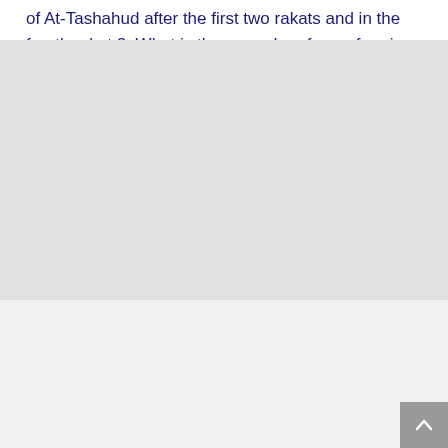of At-Tashahud after the first two rakats and in the fourth rakat 2. What is the procedure for performing Forgetfulness Prostrations (Sujuud Sahw) 3. Is it mandatory to recite “RABBI IGHFIR LEE” in the sitting pause between the two prostration of every unit of the prayer.
Ad by Muslim Ad Network